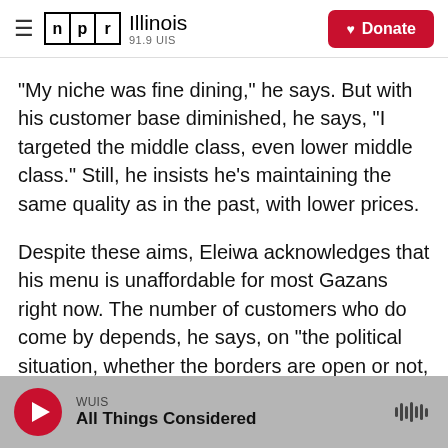NPR Illinois 91.9 UIS | Donate
"My niche was fine dining," he says. But with his customer base diminished, he says, "I targeted the middle class, even lower middle class." Still, he insists he's maintaining the same quality as in the past, with lower prices.
Despite these aims, Eleiwa acknowledges that his menu is unaffordable for most Gazans right now. The number of customers who do come by depends, he says, on "the political situation, whether the borders are open or not, whether the building materials come through or not."
WUIS | All Things Considered